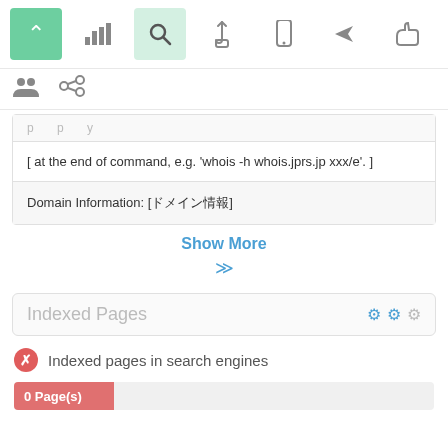[Figure (screenshot): Toolbar with icon buttons: green active button with up arrow, bar chart icon, search icon (light green highlight), pointer/hand icon, mobile icon, send icon, thumbs up icon]
[Figure (screenshot): Secondary toolbar row with people/group icon and chain link icon]
[ at the end of command, e.g. 'whois -h whois.jprs.jp xxx/e'. ]
Domain Information: [ドメイン情報]
Show More
Indexed Pages
Indexed pages in search engines
0 Page(s)